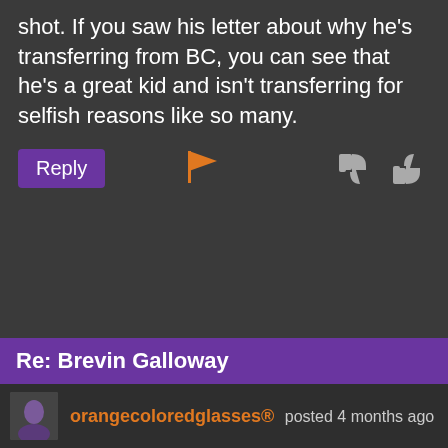shot. If you saw his letter about why he's transferring from BC, you can see that he's a great kid and isn't transferring for selfish reasons like so many.
[Figure (screenshot): Action bar with Reply button (purple), orange flag icon, thumbs down and thumbs up icons]
Re: Brevin Galloway
orangecoloredglasses® posted 4 months ago